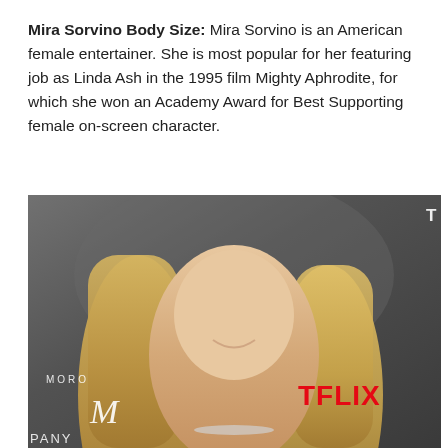Mira Sorvino Body Size: Mira Sorvino is an American female entertainer. She is most popular for her featuring job as Linda Ash in the 1995 film Mighty Aphrodite, for which she won an Academy Award for Best Supporting female on-screen character.
[Figure (photo): Photo of Mira Sorvino smiling at what appears to be a Netflix event, with a Morocco branded backdrop. She has long blonde hair and is wearing a necklace. Text visible includes MOROCCO, M logo, TFLIX (part of NETFLIX), PANY (part of COMPANY).]